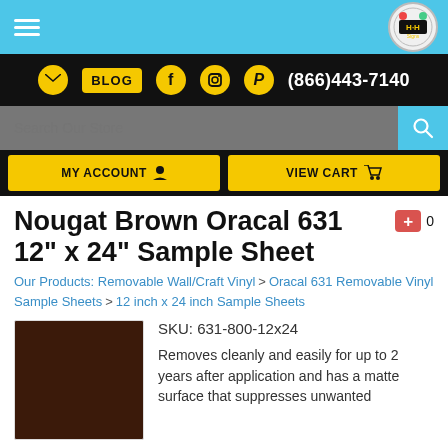H&H Signs Store header with navigation, search, and cart
Nougat Brown Oracal 631 12" x 24" Sample Sheet
Our Products: Removable Wall/Craft Vinyl > Oracal 631 Removable Vinyl Sample Sheets > 12 inch x 24 inch Sample Sheets
[Figure (photo): Nougat brown color vinyl sheet sample, dark brown square]
SKU: 631-800-12x24
Removes cleanly and easily for up to 2 years after application and has a matte surface that suppresses unwanted